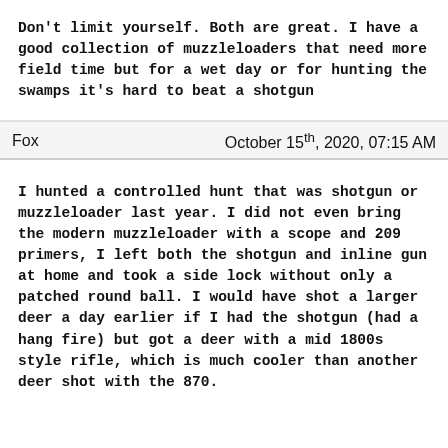Don't limit yourself. Both are great. I have a good collection of muzzleloaders that need more field time but for a wet day or for hunting the swamps it's hard to beat a shotgun
Fox    October 15th, 2020, 07:15 AM
I hunted a controlled hunt that was shotgun or muzzleloader last year. I did not even bring the modern muzzleloader with a scope and 209 primers, I left both the shotgun and inline gun at home and took a side lock without only a patched round ball. I would have shot a larger deer a day earlier if I had the shotgun (had a hang fire) but got a deer with a mid 1800s style rifle, which is much cooler than another deer shot with the 870.